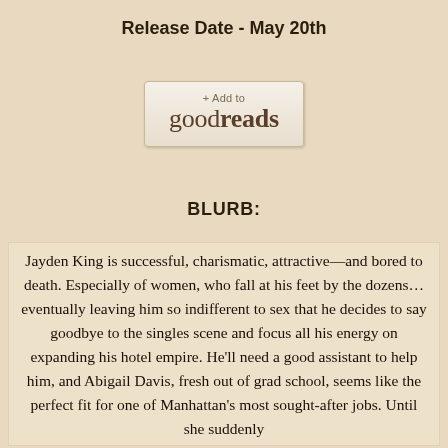Release Date - May 20th
[Figure (logo): Goodreads '+Add to goodreads' button widget]
BLURB:
Jayden King is successful, charismatic, attractive—and bored to death. Especially of women, who fall at his feet by the dozens… eventually leaving him so indifferent to sex that he decides to say goodbye to the singles scene and focus all his energy on expanding his hotel empire. He'll need a good assistant to help him, and Abigail Davis, fresh out of grad school, seems like the perfect fit for one of Manhattan's most sought-after jobs. Until she suddenly